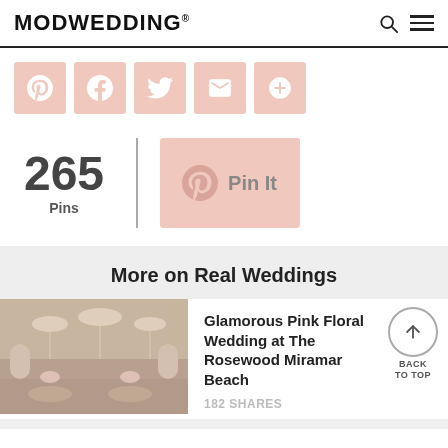MODWEDDING®
[Figure (infographic): Social share buttons row: Pinterest, Facebook, Twitter, Email, More (plus icon) — all in blush pink square buttons]
265 Pins | Pin It
More on Real Weddings
[Figure (photo): Photo of a glamorous pink floral wedding reception at The Rosewood Miramar Beach — ballroom with chandeliers and floral arrangements]
Glamorous Pink Floral Wedding at The Rosewood Miramar Beach
182 SHARES